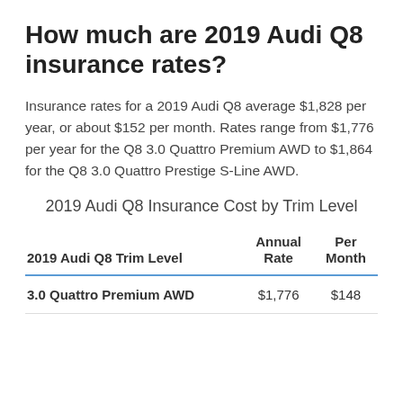How much are 2019 Audi Q8 insurance rates?
Insurance rates for a 2019 Audi Q8 average $1,828 per year, or about $152 per month. Rates range from $1,776 per year for the Q8 3.0 Quattro Premium AWD to $1,864 for the Q8 3.0 Quattro Prestige S-Line AWD.
2019 Audi Q8 Insurance Cost by Trim Level
| 2019 Audi Q8 Trim Level | Annual Rate | Per Month |
| --- | --- | --- |
| 3.0 Quattro Premium AWD | $1,776 | $148 |